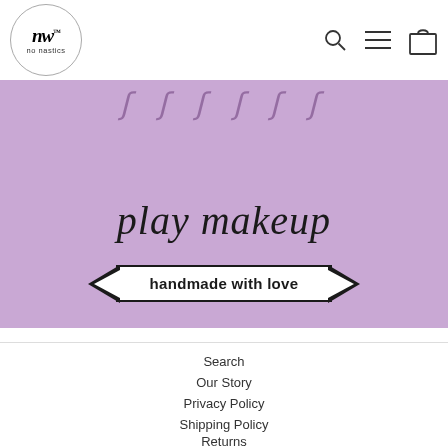[Figure (logo): No Nastics logo — circle with 'nw' monogram and 'no nastics' text below]
[Figure (screenshot): Purple/lavender banner with cursive swirls at top, 'play makeup' in italic script, and 'handmade with love' in a ribbon banner]
Search
Our Story
Privacy Policy
Shipping Policy
Returns